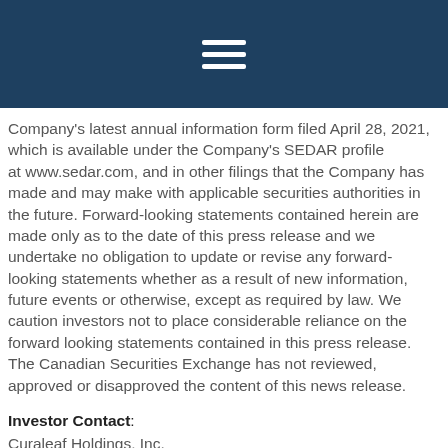[Figure (other): Dark navy header bar with a white hamburger menu icon (three horizontal lines)]
Company's latest annual information form filed April 28, 2021, which is available under the Company's SEDAR profile at www.sedar.com, and in other filings that the Company has made and may make with applicable securities authorities in the future. Forward-looking statements contained herein are made only as to the date of this press release and we undertake no obligation to update or revise any forward-looking statements whether as a result of new information, future events or otherwise, except as required by law. We caution investors not to place considerable reliance on the forward looking statements contained in this press release. The Canadian Securities Exchange has not reviewed, approved or disapproved the content of this news release.
Investor Contact:
Curaleaf Holdings, Inc.